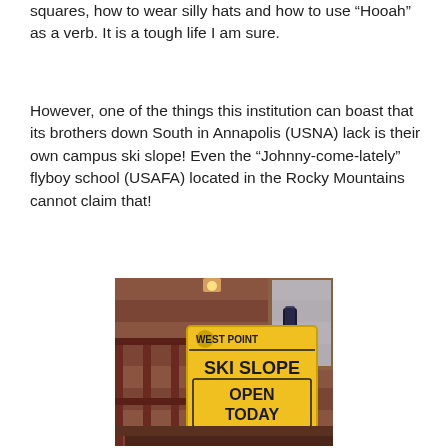squares, how to wear silly hats and how to use “Hooah” as a verb. It is a tough life I am sure.
However, one of the things this institution can boast that its brothers down South in Annapolis (USNA) lack is their own campus ski slope! Even the “Johnny-come-lately” flyboy school (USAFA) located in the Rocky Mountains cannot claim that!
[Figure (photo): A yellow sign reading 'WEST POINT SKI SLOPE OPEN TODAY' mounted near a railing with a ski leaning against it, photographed in daylight at a ski lodge area.]